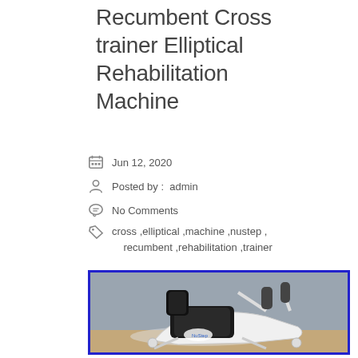Recumbent Cross trainer Elliptical Rehabilitation Machine
Jun 12, 2020
Posted by :  admin
No Comments
cross ,elliptical ,machine ,nustep , recumbent ,rehabilitation ,trainer
[Figure (photo): Recumbent cross trainer elliptical rehabilitation machine — a white and black seated elliptical exercise device with padded seat, armrests, and pedals, photographed against a grey background on a wooden surface.]